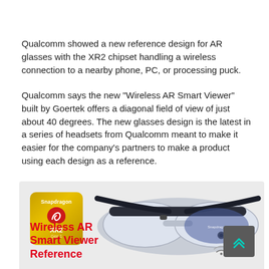Qualcomm showed a new reference design for AR glasses with the XR2 chipset handling a wireless connection to a nearby phone, PC, or processing puck.
Qualcomm says the new "Wireless AR Smart Viewer" built by Goertek offers a diagonal field of view of just about 40 degrees. The new glasses design is the latest in a series of headsets from Qualcomm meant to make it easier for the company's partners to make a product using each design as a reference.
[Figure (photo): Product promotional image showing the Qualcomm Snapdragon XR2 Gen 1 chip badge on the left, AR smart glasses (Wireless AR Smart Viewer Reference Design) in the center-right on a light grey background, with red bold text 'Wireless AR Smart Viewer Reference' in the lower left, and a dark scroll-to-top button in the lower right corner.]